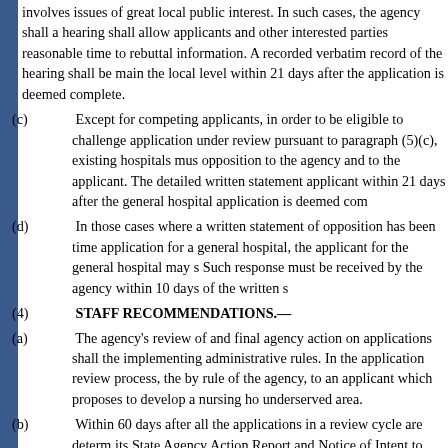involves issues of great local public interest. In such cases, the agency shall a hearing shall allow applicants and other interested parties reasonable time to rebuttal information. A recorded verbatim record of the hearing shall be mai the local level within 21 days after the application is deemed complete.
(c) Except for competing applicants, in order to be eligible to challenge application under review pursuant to paragraph (5)(c), existing hospitals mu opposition to the agency and to the applicant. The detailed written statement applicant within 21 days after the general hospital application is deemed com
(d) In those cases where a written statement of opposition has been time application for a general hospital, the applicant for the general hospital may s Such response must be received by the agency within 10 days of the written s
(4) STAFF RECOMMENDATIONS.—
(a) The agency's review of and final agency action on applications shall the implementing administrative rules. In the application review process, the by rule of the agency, to an applicant which proposes to develop a nursing ho underserved area.
(b) Within 60 days after all the applications in a review cycle are determ its State Agency Action Report and Notice of Intent to grant a certificate of m certificate of need for identifiable portions of the project, or to deny a certific Report shall set forth in writing its findings of fact and determinations upon w intends to grant a certificate of need, the State Agency Action Report or the N conditions which the agency intends to attach to the certificate of need. The a person, other than the person who issues the final order, to issue State Agenc